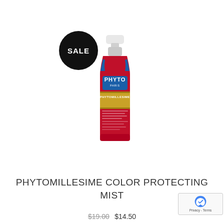[Figure (photo): A red spray bottle of Phyto Paris Phytomillesime Color Protecting Mist with white spray nozzle cap. The bottle has a gold label band in the middle. A black circular SALE badge is positioned in the upper left area of the image.]
PHYTOMILLESIME COLOR PROTECTING MIST
$19.00 $14.50